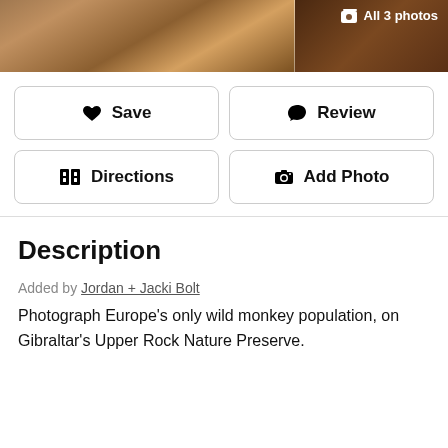[Figure (photo): Photo strip showing a monkey (Gibraltar Barbary macaque) in the wild, brown fur visible. Right side shows a darker portion of the image. An 'All 3 photos' button with photo icon is in the top right corner.]
All 3 photos
♥  Save
💬  Review
🗺  Directions
📷  Add Photo
Description
Added by Jordan + Jacki Bolt
Photograph Europe's only wild monkey population, on Gibraltar's Upper Rock Nature Preserve.